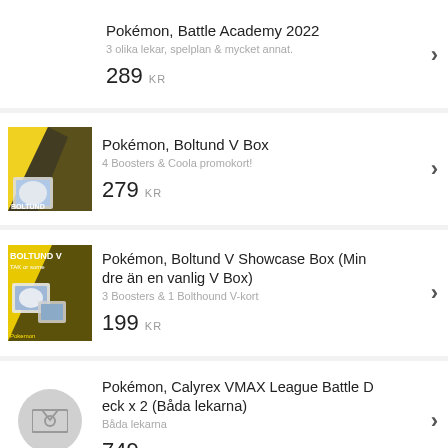Pokémon, Battle Academy 2022
3 olika lekar, spelplan & mycket annat.
289 KR
[Figure (other): No product image shown for Battle Academy 2022]
Pokémon, Boltund V Box
4 Boosters & Coola promokort!
279 KR
[Figure (photo): Pokémon Boltund V Box product image with yellow and black design]
Pokémon, Boltund V Showcase Box (Mindre än en vanlig V Box)
3 Boosters & 1 Bolthound V-kort
199 KR
[Figure (photo): Pokémon Boltund V Showcase Box product image with yellow design]
Pokémon, Calyrex VMAX League Battle Deck x 2 (Båda lekarna)
Båda lekarna
749 KR
[Figure (other): Placeholder image icon for Calyrex VMAX]